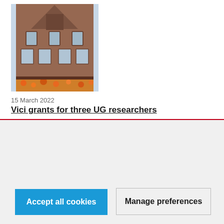[Figure (photo): Photograph of a historic university building facade, showing ornate red-brick architecture with gothic-style windows and orange autumn flowers at the base, viewed from below.]
15 March 2022
Vici grants for three UG researchers
The UG website uses functional and anonymous analytics cookies. Please answer the question of whether or not you want to accept other cookies (such as tracking cookies). If no choice is made, only basic cookies will be stored. More information
Accept all cookies
Manage preferences